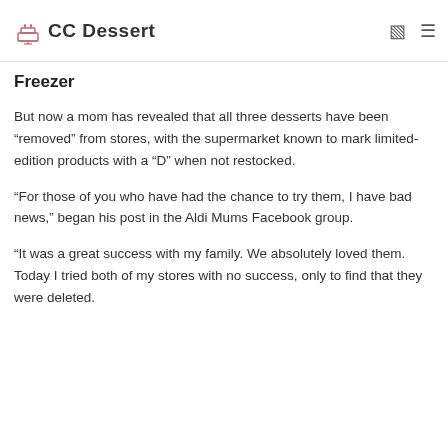CC Dessert
Freezer
But now a mom has revealed that all three desserts have been “removed” from stores, with the supermarket known to mark limited-edition products with a “D” when not restocked.
“For those of you who have had the chance to try them, I have bad news,” began his post in the Aldi Mums Facebook group.
“It was a great success with my family. We absolutely loved them. Today I tried both of my stores with no success, only to find that they were deleted.